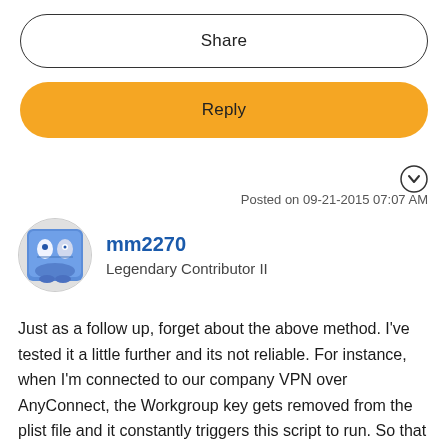Share
Reply
Posted on 09-21-2015 07:07 AM
[Figure (illustration): User avatar: Mac Finder icon on a blue square background, inside a circular frame]
mm2270
Legendary Contributor II
Just as a follow up, forget about the above method. I've tested it a little further and its not reliable. For instance, when I'm connected to our company VPN over AnyConnect, the Workgroup key gets removed from the plist file and it constantly triggers this script to run. So that plist gets modified under too many circumstances that are not strictly when a computer to computer network is